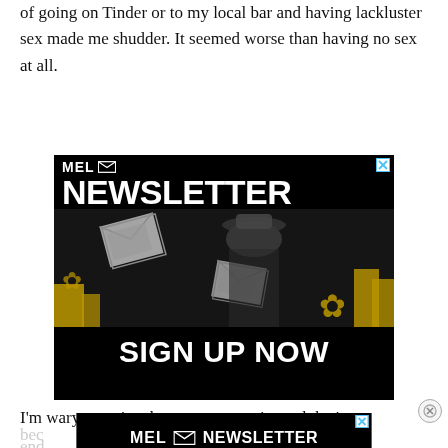of going on Tinder or to my local bar and having lackluster sex made me shudder. It seemed worse than having no sex at all.
[Figure (advertisement): MEL Newsletter advertisement with envelope logo, large NEWSLETTER heading, black and white photo of a cowboy-style figure surrounded by floating envelopes and yellow marijuana leaves, and SIGN UP NOW call-to-action text at the bottom.]
I'm wary even in a best-case scenario, and that's
[Figure (advertisement): MEL Newsletter banner advertisement at the bottom of the page, partially overlapping body text, showing MEL envelope logo and NEWSLETTER text on black background.]